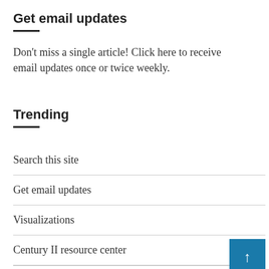Get email updates
Don't miss a single article! Click here to receive email updates once or twice weekly.
Trending
Search this site
Get email updates
Visualizations
Century II resource center
Wichita water plant resource center